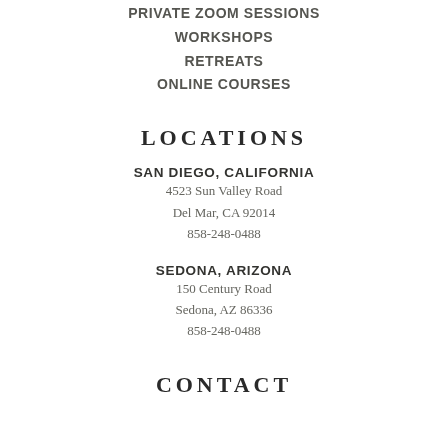PRIVATE ZOOM SESSIONS
WORKSHOPS
RETREATS
ONLINE COURSES
LOCATIONS
SAN DIEGO, CALIFORNIA
4523 Sun Valley Road
Del Mar, CA 92014
858-248-0488
SEDONA, ARIZONA
150 Century Road
Sedona, AZ 86336
858-248-0488
CONTACT